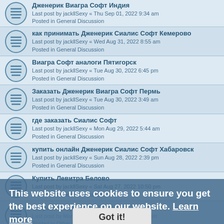Дженерик Виагра Софт Индия
Last post by jackllSexy « Thu Sep 01, 2022 9:34 am
Posted in General Discussion
как принимать Дженерик Сиалис Софт Кемерово
Last post by jackllSexy « Wed Aug 31, 2022 8:55 am
Posted in General Discussion
Виагра Софт аналоги Пятигорск
Last post by jackllSexy « Tue Aug 30, 2022 6:45 pm
Posted in General Discussion
Заказать Дженерик Виагра Софт Пермь
Last post by jackllSexy « Tue Aug 30, 2022 3:49 am
Posted in General Discussion
где заказать Сиалис Софт
Last post by jackllSexy « Mon Aug 29, 2022 5:44 am
Posted in General Discussion
купить онлайн Дженерик Сиалис Софт Хабаровск
Last post by jackllSexy « Sun Aug 28, 2022 2:39 pm
Posted in General Discussion
Купить Левитра Белово
Last post by jackllSexy « Sat Aug 27, 2022 10:50 pm
Posted in General Discussion
заправка картриджей kyocera
Last post by Marinaspf « Sat Aug 27, 2022 7:22 pm
Posted in Other Development
заправка xerox phaser
This website uses cookies to ensure you get the best experience on our website. Learn more
Got it!